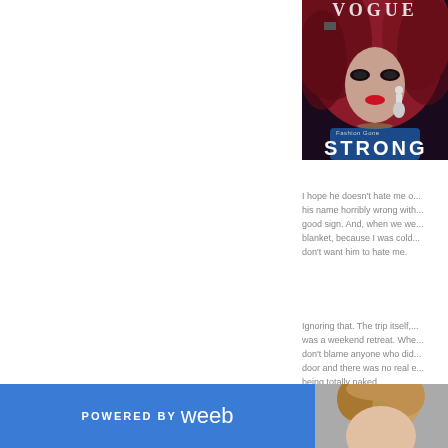[Figure (photo): Magazine cover for 'Fashion Gone STRONG' showing a model with red hair, dark makeup, red lips, and a drop earring, wearing a blue sequined outfit, with 'VOGUE' text at top]
I hope he doesn't hate me o... his name horribly wrong with... good sign. And, when we we... blanket, because I was cold... don't want him to hate me.
Ignoring that. The trip itself,... was a weekend retreat. Whe... don't blame anyone who did... door and there was no real e... being totally naked.
POWERED BY weeb
[Figure (photo): Partial photo of a person with blonde/brown hair, top of head visible]